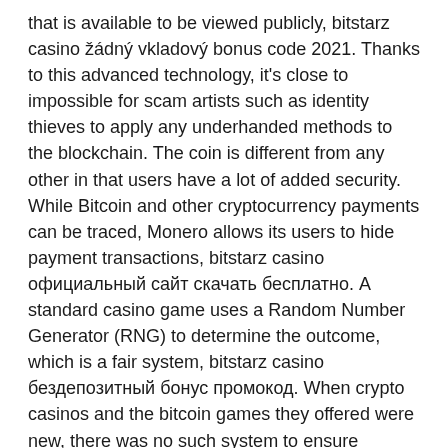that is available to be viewed publicly, bitstarz casino žádný vkladový bonus code 2021. Thanks to this advanced technology, it's close to impossible for scam artists such as identity thieves to apply any underhanded methods to the blockchain. The coin is different from any other in that users have a lot of added security. While Bitcoin and other cryptocurrency payments can be traced, Monero allows its users to hide payment transactions, bitstarz casino официальный сайт скачать бесплатно. A standard casino game uses a Random Number Generator (RNG) to determine the outcome, which is a fair system, bitstarz casino бездепозитный бонус промокод. When crypto casinos and the bitcoin games they offered were new, there was no such system to ensure fairness of the outcomes. V, like many of the other top crypto casinos on our lists, bitstarz casino бездепозитный бонус промокод. The Coin S...